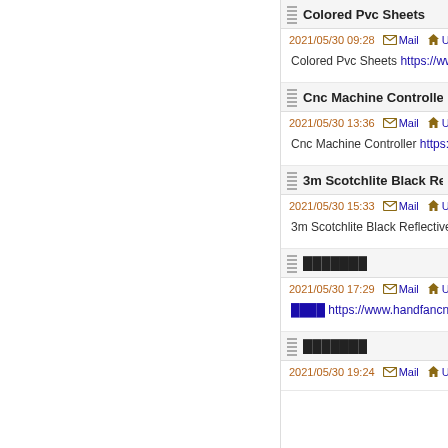Colored Pvc Sheets
2021/05/30 09:28   Mail   U
Colored Pvc Sheets https://www...
Cnc Machine Controller
2021/05/30 13:36   Mail   U
Cnc Machine Controller https://w...
3m Scotchlite Black Reflecti...
2021/05/30 15:33   Mail   U
3m Scotchlite Black Reflective F...
███████
2021/05/30 17:29   Mail   U
████ https://www.handfancn.com/
███████
2021/05/30 19:24   Mail   U